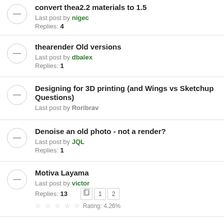convert thea2.2 materials to 1.5 — Last post by nigec — Replies: 4
thearender Old versions — Last post by dbalex — Replies: 1
Designing for 3D printing (and Wings vs Sketchup Questions) — Last post by Roribrav
Denoise an old photo - not a render? — Last post by JQL — Replies: 1
Motiva Layama — Last post by victor — Replies: 13 — Rating: 4.26%
Export as FBX — Last post by nigec — Replies: 1